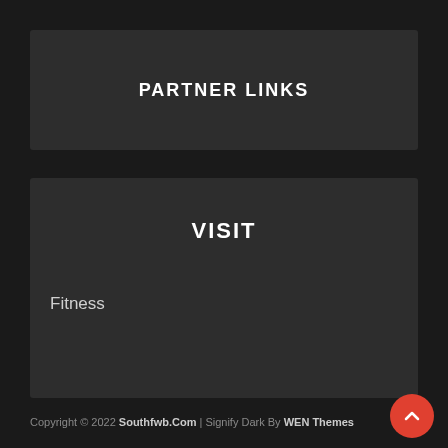PARTNER LINKS
VISIT
Fitness
Copyright © 2022 Southfwb.Com | Signify Dark By WEN Themes